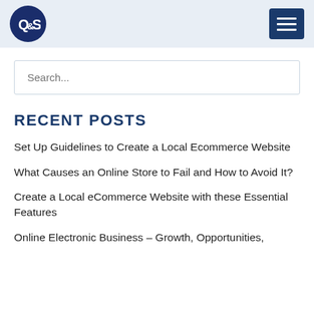QeS logo and navigation header
Search...
RECENT POSTS
Set Up Guidelines to Create a Local Ecommerce Website
What Causes an Online Store to Fail and How to Avoid It?
Create a Local eCommerce Website with these Essential Features
Online Electronic Business – Growth, Opportunities,